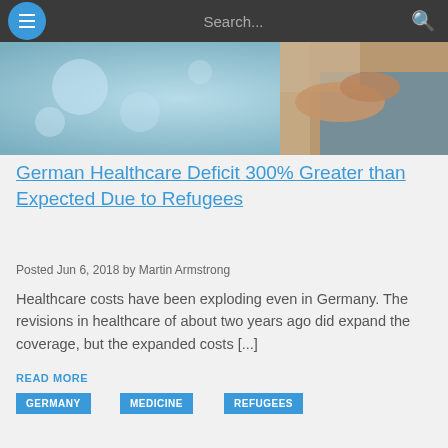Search...
[Figure (photo): A person with arms crossed, wearing blue clothing, with a blurred hospital or clinical background featuring bokeh light circles]
German Healthcare Deficit 300% Greater than Expected Due to Refugees
Posted Jun 6, 2018 by Martin Armstrong
Healthcare costs have been exploding even in Germany. The revisions in healthcare of about two years ago did expand the coverage, but the expanded costs [...]
READ MORE
GERMANY
MEDICINE
REFUGEES